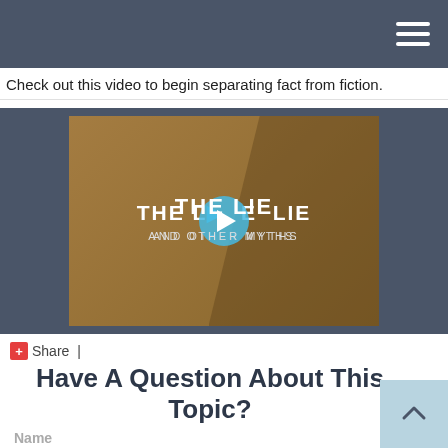[Figure (screenshot): Navigation bar with dark gray background and hamburger menu icon (three white horizontal lines) on the right side.]
Check out this video to begin separating fact from fiction.
[Figure (screenshot): Video thumbnail with golden/brown background showing text 'THE LATE LIE AND OTHER MYTHS' with a circular play button in the center.]
+ Share |
Have A Question About This Topic?
Name